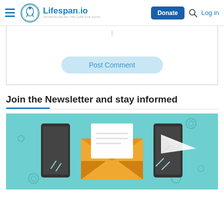Lifespan.io — Donate | Log in
[Figure (screenshot): Comment text area with Post Comment button]
Join the Newsletter and stay informed
[Figure (illustration): Newsletter signup illustration showing an envelope with a letter and paper airplane on teal background]